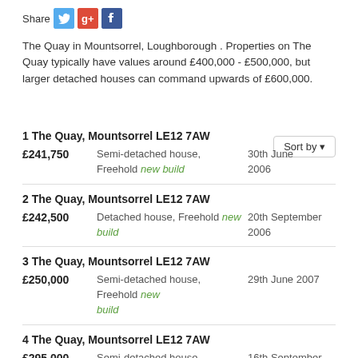[Figure (infographic): Share bar with Twitter, Google+, and Facebook icons]
The Quay in Mountsorrel, Loughborough . Properties on The Quay typically have values around £400,000 - £500,000, but larger detached houses can command upwards of £600,000.
1 The Quay, Mountsorrel LE12 7AW — £241,750 — Semi-detached house, Freehold new build — 30th June 2006
2 The Quay, Mountsorrel LE12 7AW — £242,500 — Detached house, Freehold new build — 20th September 2006
3 The Quay, Mountsorrel LE12 7AW — £250,000 — Semi-detached house, Freehold new build — 29th June 2007
4 The Quay, Mountsorrel LE12 7AW — £295,000 — Semi-detached house, Freehold — 16th September 2011